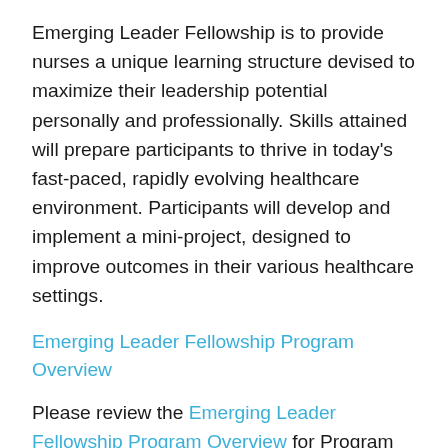Emerging Leader Fellowship is to provide nurses a unique learning structure devised to maximize their leadership potential personally and professionally. Skills attained will prepare participants to thrive in today's fast-paced, rapidly evolving healthcare environment. Participants will develop and implement a mini-project, designed to improve outcomes in their various healthcare settings.
Emerging Leader Fellowship Program Overview
Please review the Emerging Leader Fellowship Program Overview for Program